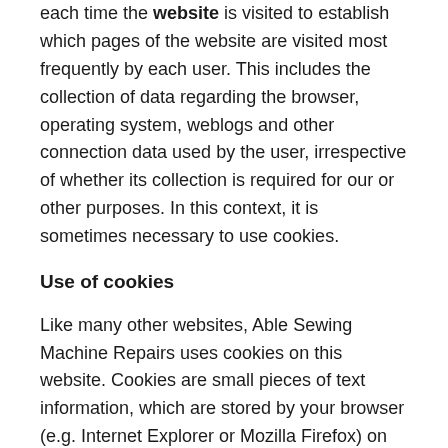each time the website is visited to establish which pages of the website are visited most frequently by each user. This includes the collection of data regarding the browser, operating system, weblogs and other connection data used by the user, irrespective of whether its collection is required for our or other purposes. In this context, it is sometimes necessary to use cookies.
Use of cookies
Like many other websites, Able Sewing Machine Repairs uses cookies on this website. Cookies are small pieces of text information, which are stored by your browser (e.g. Internet Explorer or Mozilla Firefox) on your computer's hard drive. These cookies are completely anonymised and contain no personal information.
Disclosure of information